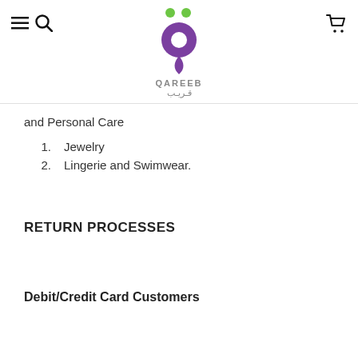QAREEB قـريـب — navigation header with logo
and Personal Care
1. Jewelry
2. Lingerie and Swimwear.
RETURN PROCESSES
Debit/Credit Card Customers